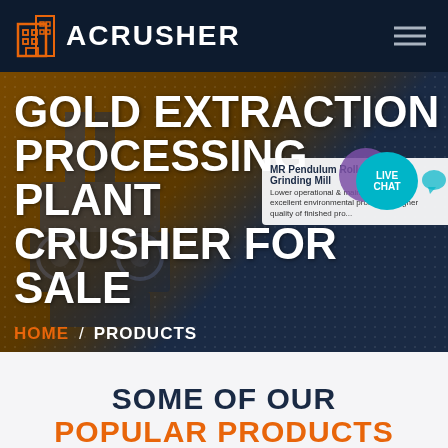ACRUSHER
GOLD EXTRACTION PROCESSING PLANT CRUSHER FOR SALE
HOME / PRODUCTS
[Figure (screenshot): Website screenshot showing ACRUSHER company page header with logo, navigation, hero banner with industrial crusher machine, and 'SOME OF OUR POPULAR PRODUCTS' section beginning]
SOME OF OUR
POPULAR PRODUCTS